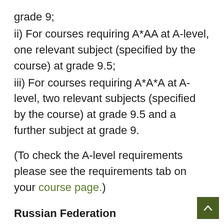grade 9;
ii) For courses requiring A*AA at A-level, one relevant subject (specified by the course) at grade 9.5;
iii) For courses requiring A*A*A at A-level, two relevant subjects (specified by the course) at grade 9.5 and a further subject at grade 9.
(To check the A-level requirements please see the requirements tab on your course page.)
Russian Federation
Attestat o Srednam Obrazovanii (Certificate of Secondary Education) would not be sufficient